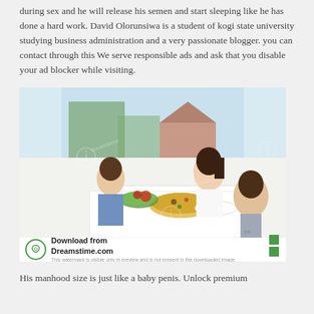during sex and he will release his semen and start sleeping like he has done a hard work. David Olorunsiwa is a student of kogi state university studying business administration and a very passionate blogger. you can contact through this We serve responsible ads and ask that you disable your ad blocker while visiting.
[Figure (photo): Stock photo from Dreamstime.com showing a woman and two children sitting at a white kitchen table eating pizza and salad near a window. The image has watermark overlays.]
His manhood size is just like a baby penis. Unlock premium